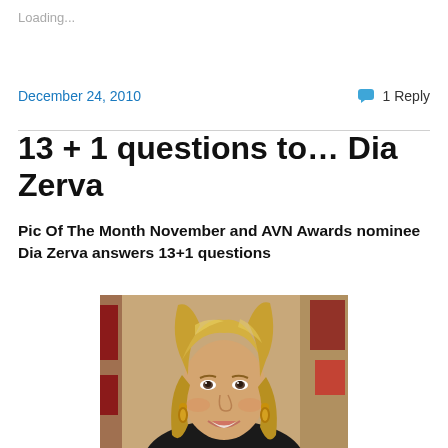Loading...
December 24, 2010
1 Reply
13 + 1 questions to… Dia Zerva
Pic Of The Month November and AVN Awards nominee Dia Zerva answers 13+1 questions
[Figure (photo): Portrait photo of Dia Zerva, a blonde woman smiling, wearing dark top and gold earrings, at what appears to be an awards event with red signage in background]